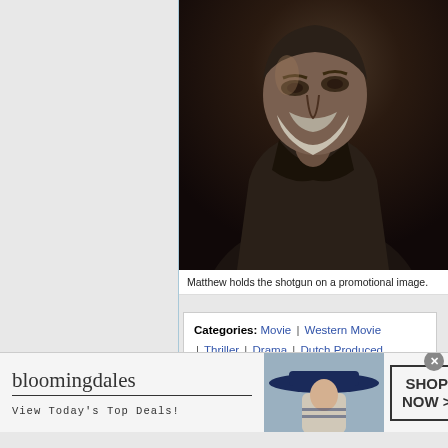[Figure (photo): Promotional photo of an older bearded man (Matthew) in a dark coat, against a dark background, looking upward and to the side.]
Matthew holds the shotgun on a promotional image.
Categories: Movie | Western Movie | Thriller | Drama | Dutch Produced | British Produced/Filmed | French Produced/Filmed
[Figure (infographic): Bloomingdales advertisement banner: 'bloomingdales / View Today's Top Deals!' with a woman in a large blue hat and a 'SHOP NOW >' button.]